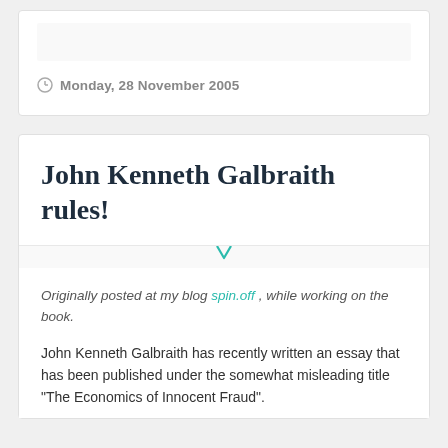Monday, 28 November 2005
John Kenneth Galbraith rules!
Originally posted at my blog spin.off , while working on the book.
John Kenneth Galbraith has recently written an essay that has been published under the somewhat misleading title "The Economics of Innocent Fraud".